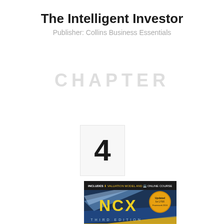The Intelligent Investor
Publisher: Collins Business Essentials
[Figure (illustration): Faint watermark text in light gray]
[Figure (other): Rank badge showing number 4 in a light gray box]
[Figure (photo): Book cover of Investment Banking: Valuation, LBOs, M&A, and IPOs, Third Edition by NCX, gold cover with blue graphic elements, includes valuation model and online course]